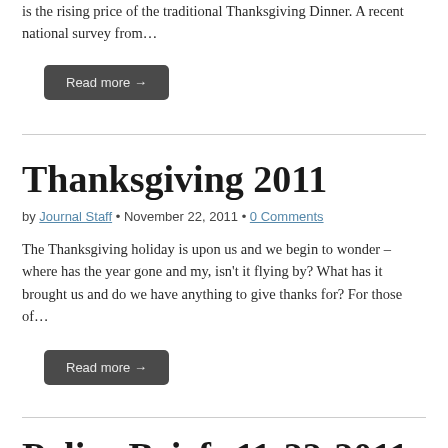is the rising price of the traditional Thanksgiving Dinner. A recent national survey from…
Read more →
Thanksgiving 2011
by Journal Staff • November 22, 2011 • 0 Comments
The Thanksgiving holiday is upon us and we begin to wonder – where has the year gone and my, isn't it flying by? What has it brought us and do we have anything to give thanks for? For those of…
Read more →
Police Briefs 11-22-2011